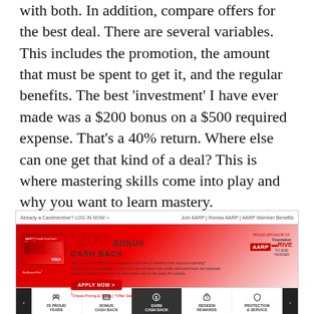with both. In addition, compare offers for the best deal. There are several variables. This includes the promotion, the amount that must be spent to get it, and the regular benefits. The best 'investment' I have ever made was a $200 bonus on a $500 required expense. That's a 40% return. Where else can one get that kind of a deal? This is where mastering skills come into play and why you want to learn mastery.
[Figure (screenshot): Screenshot of AARP Credit Card from Chase webpage showing $200 Bonus Cash Back offer with Apply Now button, AARP Foundation Drive to End Hunger logo, and bottom navigation icons for 25 Proud Years, Bonus Cash Back, Earn Cash Back, Redeem Rewards, Protection & Service]